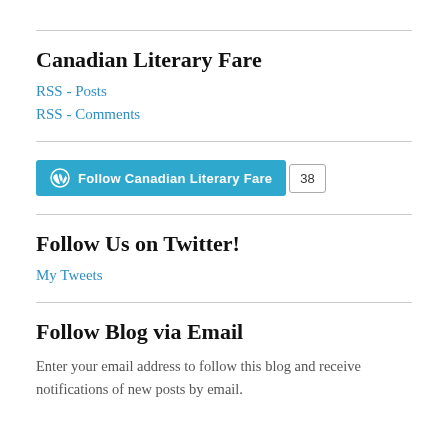Canadian Literary Fare
RSS - Posts
RSS - Comments
[Figure (other): WordPress Follow button for Canadian Literary Fare with follower count of 38]
Follow Us on Twitter!
My Tweets
Follow Blog via Email
Enter your email address to follow this blog and receive notifications of new posts by email.